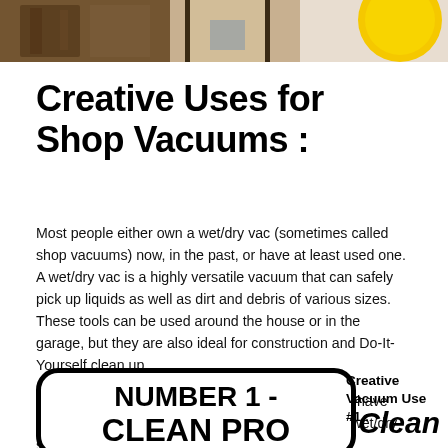[Figure (photo): Cropped top banner photo showing people and objects, partially visible]
Creative Uses for Shop Vacuums :
Most people either own a wet/dry vac (sometimes called shop vacuums) now, in the past, or have at least used one. A wet/dry vac is a highly versatile vacuum that can safely pick up liquids as well as dirt and debris of various sizes. These tools can be used around the house or in the garage, but they are also ideal for construction and Do-It-Yourself clean up.
However, they can be used for more than you may have dreamed! Here are the top 10 Creative Uses for a wet/dry shop vac.
[Figure (infographic): Rounded rectangle box with bold black text reading NUMBER 1 - CLEAN PRO (partially visible)]
Creative Vacuum Use #1 :
Clean